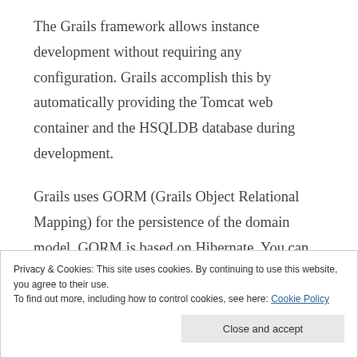The Grails framework allows instance development without requiring any configuration. Grails accomplish this by automatically providing the Tomcat web container and the HSQLDB database during development.
Grails uses GORM (Grails Object Relational Mapping) for the persistence of the domain model. GORM is based on Hibernate. You can test with the HSQLDB and run in production against another database simply by changing the configuration file (DataSource.groovy).
Privacy & Cookies: This site uses cookies. By continuing to use this website, you agree to their use. To find out more, including how to control cookies, see here: Cookie Policy